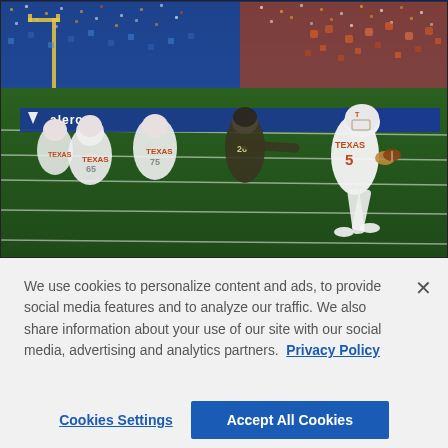[Figure (photo): Football game action photo: Texas Longhorns player wearing white jersey #5 running with the football to the right, pursued by a player in dark uniform #26, with Texas offensive linemen #65 and #75 visible in the background. Valero sponsor banners visible along the sideline. Indoor stadium setting.]
We use cookies to personalize content and ads, to provide social media features and to analyze our traffic. We also share information about your use of our site with our social media, advertising and analytics partners. Privacy Policy
Cookies Settings
Accept All Cookies